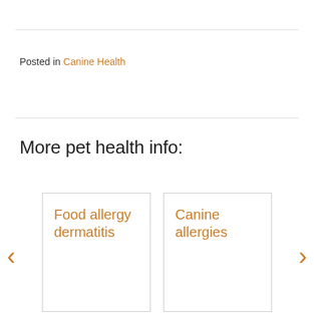Posted in Canine Health
More pet health info:
Food allergy dermatitis
Canine allergies